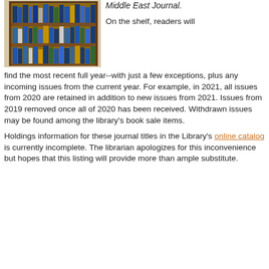[Figure (photo): A wooden bookshelf with multiple shelves filled with journals and books, including blue, green, and yellow volumes.]
Middle East Journal.
On the shelf, readers will find the most recent full year--with just a few exceptions, plus any incoming issues from the current year. For example, in 2021, all issues from 2020 are retained in addition to new issues from 2021. Issues from 2019 removed once all of 2020 has been received. Withdrawn issues may be found among the library's book sale items.
Holdings information for these journal titles in the Library's online catalog is currently incomplete. The librarian apologizes for this inconvenience but hopes that this listing will provide more than ample substitute.